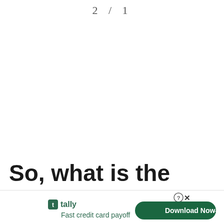2 / 1
So, what is the answer to 271 divided by 457?
271.
If you
[Figure (other): Advertisement banner: Tally app - Fast credit card payoff, with Download Now button]